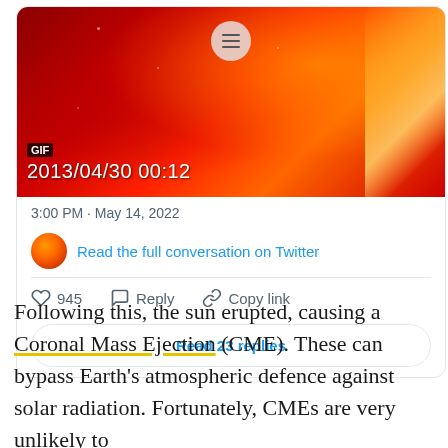[Figure (screenshot): Twitter/social media embed card showing a GIF from 2013/04/30 00:12 with a red solar image. Timestamp: 3:00 PM · May 14, 2022. Includes avatar, 'Read the full conversation on Twitter' link, 945 likes, Reply and Copy link actions, and 'Read 23 replies' button.]
Following this, the sun erupted, causing a Coronal Mass Ejection (CME). These can bypass Earth's atmospheric defence against solar radiation. Fortunately, CMEs are very unlikely to